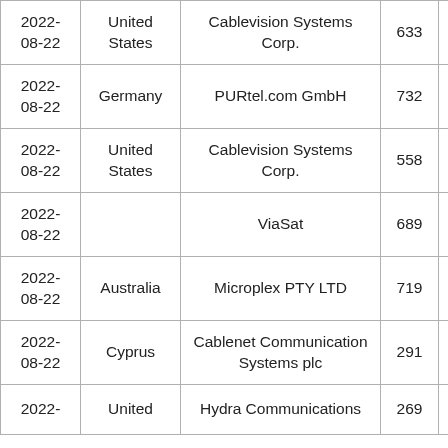| 2022-08-22 | United States | Cablevision Systems Corp. | 633 |  |
| 2022-08-22 | Germany | PURtel.com GmbH | 732 |  |
| 2022-08-22 | United States | Cablevision Systems Corp. | 558 |  |
| 2022-08-22 |  | ViaSat | 689 |  |
| 2022-08-22 | Australia | Microplex PTY LTD | 719 |  |
| 2022-08-22 | Cyprus | Cablenet Communication Systems plc | 291 |  |
| 2022- | United | Hydra Communications | 269 |  |